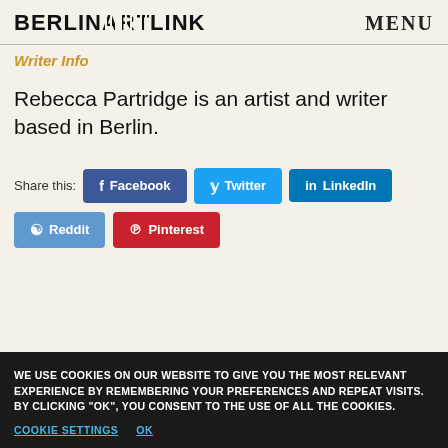BERLINARTLINK   MENU
Writer Info
Rebecca Partridge is an artist and writer based in Berlin.
Share this: Facebook Twitter LinkedIn Reddit Pinterest
WE USE COOKIES ON OUR WEBSITE TO GIVE YOU THE MOST RELEVANT EXPERIENCE BY REMEMBERING YOUR PREFERENCES AND REPEAT VISITS. BY CLICKING "OK", YOU CONSENT TO THE USE OF ALL THE COOKIES. COOKIE SETTINGS OK